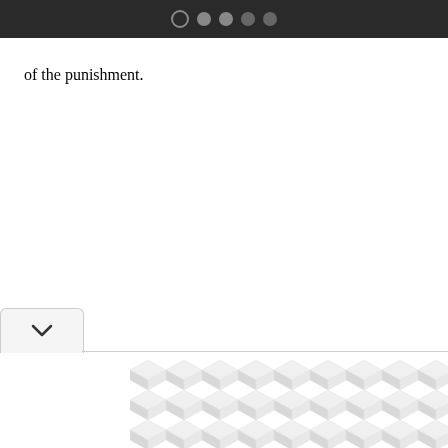● ● ● ●
of the punishment.
[Figure (other): Dropdown button with chevron/arrow pointing down, positioned at lower left with a horizontal divider line]
[Figure (other): Decorative 3D cube/hexagonal tile pattern filling the lower right area of the page]